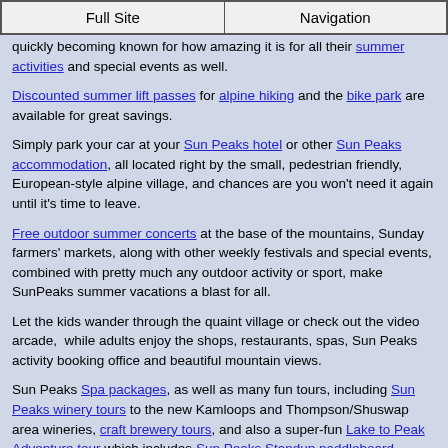Full Site | Navigation
quickly becoming known for how amazing it is for all their summer activities and special events as well.
Discounted summer lift passes for alpine hiking and the bike park are available for great savings.
Simply park your car at your Sun Peaks hotel or other Sun Peaks accommodation, all located right by the small, pedestrian friendly, European-style alpine village, and chances are you won't need it again until it's time to leave.
Free outdoor summer concerts at the base of the mountains, Sunday farmers' markets, along with other weekly festivals and special events, combined with pretty much any outdoor activity or sport, make SunPeaks summer vacations a blast for all.
Let the kids wander through the quaint village or check out the video arcade,  while adults enjoy the shops, restaurants, spas, Sun Peaks activity booking office and beautiful mountain views.
Sun Peaks Spa packages, as well as many fun tours, including Sun Peaks winery tours to the new Kamloops and Thompson/Shuswap area wineries, craft brewery tours, and also a super-fun Lake to Peak Adventure tour which includes Sun Peaks Standup paddleboard lessons, lunch, and a guided hike to breathtaking views, are also available.
There are generally wildlife photography opportunities as well.